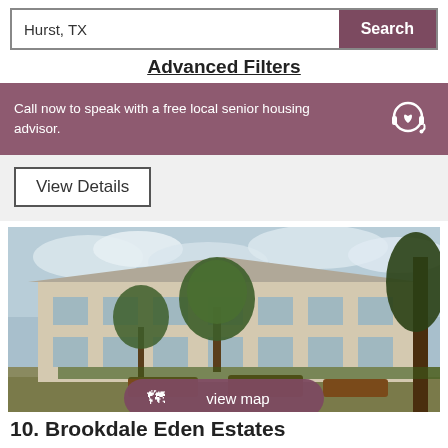Hurst, TX
Search
Advanced Filters
Call now to speak with a free local senior housing advisor.
View Details
[Figure (photo): Exterior photo of a two-story apartment complex with trees and raised garden beds in the foreground]
view map
10. Brookdale Eden Estates